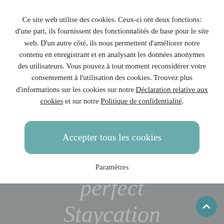Ce site web utilise des cookies. Ceux-ci ont deux fonctions: d'une part, ils fournissent des fonctionnalités de base pour le site web. D'un autre côté, ils nous permettent d'améliorer notre contenu en enregistrant et en analysant les données anonymes des utilisateurs. Vous pouvez à tout moment reconsidérer votre consentement à l'utilisation des cookies. Trouvez plus d'informations sur les cookies sur notre Déclaration relative aux cookies et sur notre Politique de confidentialité.
Accepter tous les cookies
Paramètres
[Figure (photo): Dark grey/blue photographic background with overlaid text 'For the perfect Staycation' in light transparent serif font]